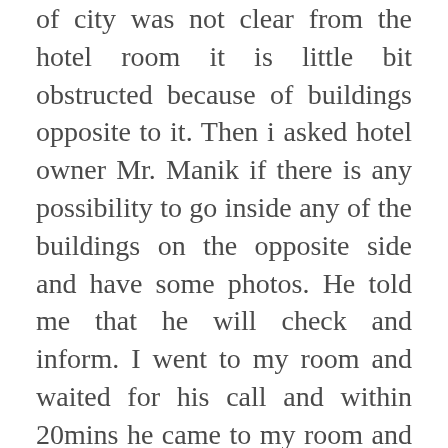of city was not clear from the hotel room it is little bit obstructed because of buildings opposite to it. Then i asked hotel owner Mr. Manik if there is any possibility to go inside any of the buildings on the opposite side and have some photos. He told me that he will check and inform. I went to my room and waited for his call and within 20mins he came to my room and told me to take the camera and follow him. I followed him to the house opposite to hotel for which he had taken the permission from the house owner and also provided me a young boy as assistant whose name was Nithesh to assist me for